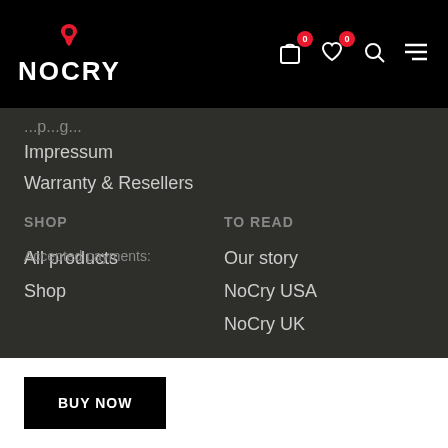NoCry
Impressum
Warranty & Resellers
SHOP
TO READ
All products
Our story
Shop
NoCry USA
NoCry UK
Accepted payments:
BUY NOW